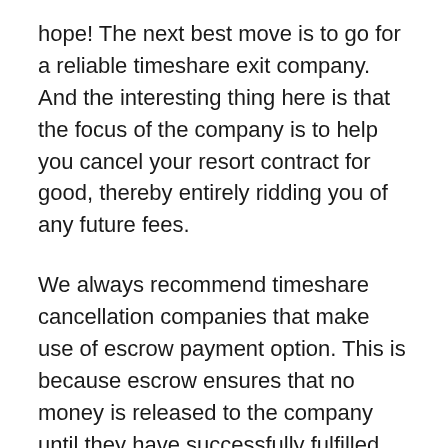hope! The next best move is to go for a reliable timeshare exit company. And the interesting thing here is that the focus of the company is to help you cancel your resort contract for good, thereby entirely ridding you of any future fees.
We always recommend timeshare cancellation companies that make use of escrow payment option. This is because escrow ensures that no money is released to the company until they have successfully fulfilled their promise.
What is more, reputable timeshare exit companies make sure to take the legal route in their process of helping timeshare owners terminate their burdening timeshares. By working with attorneys who are well-